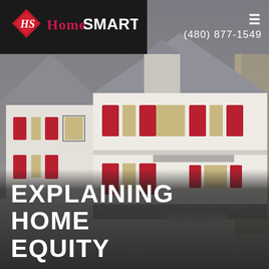[Figure (logo): HomeSmart real estate logo on dark background — red diamond shape with 'HS' monogram, followed by 'Home' in red and 'SMART' in white bold text]
(480) 877-1549
[Figure (photo): Decorative paper or ceramic house models with red shutters and white walls, arranged on a light surface, photographed in muted/grey tones]
EXPLAINING HOME EQUITY